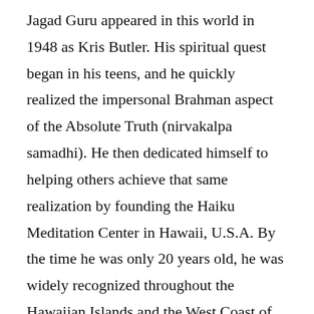Jagad Guru appeared in this world in 1948 as Kris Butler. His spiritual quest began in his teens, and he quickly realized the impersonal Brahman aspect of the Absolute Truth (nirvakalpa samadhi). He then dedicated himself to helping others achieve that same realization by founding the Haiku Meditation Center in Hawaii, U.S.A. By the time he was only 20 years old, he was widely recognized throughout the Hawaiian Islands and the West Coast of America as a self-realized yogi and master of the astanga and kundalini yoga systems. Within a short time, Jagad Guru came in contact with A.C. Bhakivedanta Swami. Although Jagad Guru was already enlightened and a knower of the impersonal or “white light” feature of the Original Cause (Brahman realization), the teachings of Srila Bhaktivedanta Swami